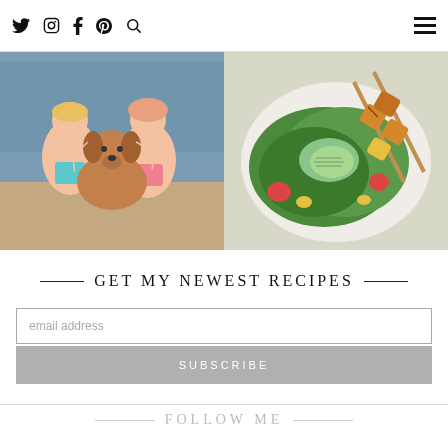Social icons: Twitter, Instagram, Facebook, Pinterest, Search | Hamburger menu
[Figure (photo): Two children hugging a golden doodle dog near a pool]
[Figure (photo): Plate of salad with avocado and grilled chicken skewers]
GET MY NEWEST RECIPES
email address
SUBSCRIBE
FOLLOW ME